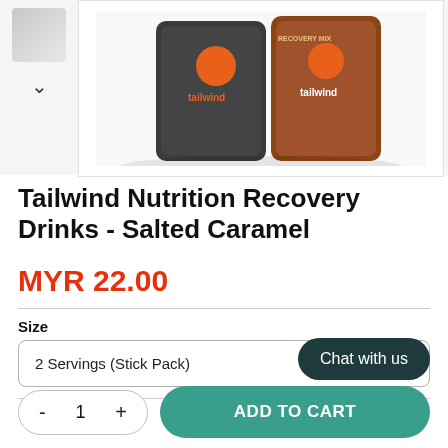[Figure (photo): Product photo area showing Tailwind Nutrition Recovery Mix packets (dark grey and brown/orange colored pouches) with a thumbnail column on the left showing a small product image and a down chevron arrow.]
Tailwind Nutrition Recovery Drinks - Salted Caramel
MYR 22.00
Size
2 Servings (Stick Pack)
- 1 +
ADD TO CART
Chat with us